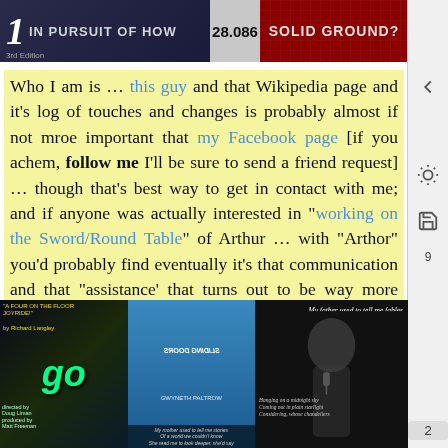[Figure (screenshot): Top banner with two panels: left dark panel showing '1 IN PURSUIT OF HOW', middle showing '28.086', right dark red panel showing 'SOLID GROUND?']
Who I am is … this guy and that Wikipedia page and it's log of touches and changes is probably almost if not mroe important that my Facebook page [if you achem, follow me I'll be sure to send a friend request] … though that's best way to get in contact with me; and if anyone was actually interested in "working on the Sword/Round Table" of Arthur … with "Arthor" you'd probably find eventually it's that communication and that "assistance' that turns out to be way more fruitful and …
[Figure (screenshot): Bottom row of three movie/media images: left shows 'go' movie poster with people, middle shows a woman in blue (Sliding Doors style), right shows a black and white image of a blonde woman with microphone with text overlaid: 'My father used to tell me fables Of a world that's unrevealed He told me to explore it more And see what's being concealed And keeping looking through the looking glass']